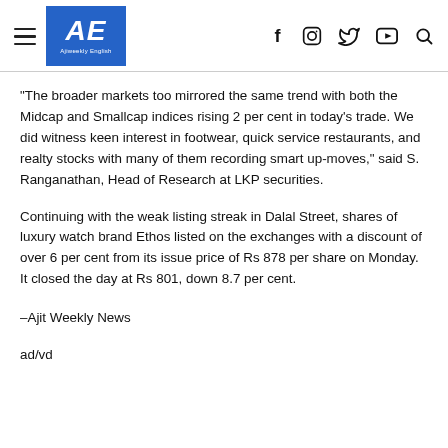AE Ajiweekly English
“The broader markets too mirrored the same trend with both the Midcap and Smallcap indices rising 2 per cent in today’s trade. We did witness keen interest in footwear, quick service restaurants, and realty stocks with many of them recording smart up-moves,” said S. Ranganathan, Head of Research at LKP securities.
Continuing with the weak listing streak in Dalal Street, shares of luxury watch brand Ethos listed on the exchanges with a discount of over 6 per cent from its issue price of Rs 878 per share on Monday. It closed the day at Rs 801, down 8.7 per cent.
–Ajit Weekly News
ad/vd